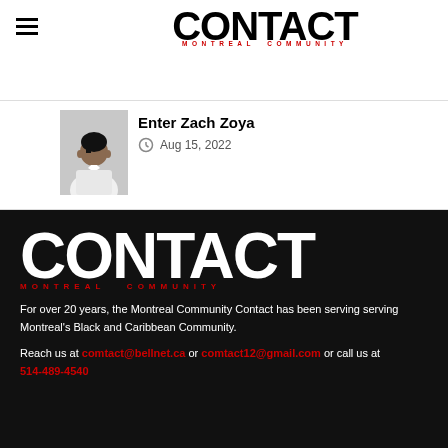[Figure (logo): Contact Montreal Community logo at top, black text with red subtitle]
Enter Zach Zoya
Aug 15, 2022
[Figure (logo): Contact Montreal Community large white logo on black background]
For over 20 years, the Montreal Community Contact has been serving serving Montreal's Black and Caribbean Community.
Reach us at comtact@bellnet.ca or comtact12@gmail.com or call us at 514-489-4540